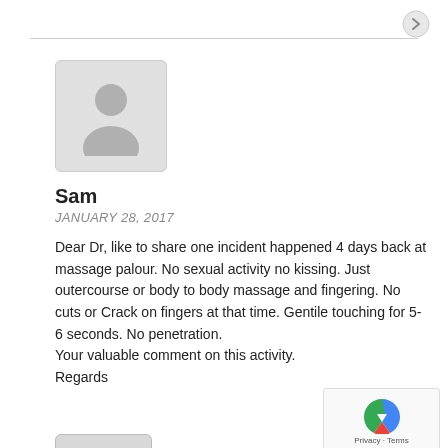[Figure (photo): Default user avatar placeholder icon in a rounded rectangle, gray background]
Sam
JANUARY 28, 2017
Dear Dr, like to share one incident happened 4 days back at massage palour. No sexual activity no kissing. Just outercourse or body to body massage and fingering. No cuts or Crack on fingers at that time. Gentile touching for 5-6 seconds. No penetration.
Your valuable comment on this activity.
Regards
[Figure (photo): Default user avatar placeholder icon, partially visible at bottom of page]
Appointment Request
[Figure (logo): reCAPTCHA logo with Privacy and Terms links]